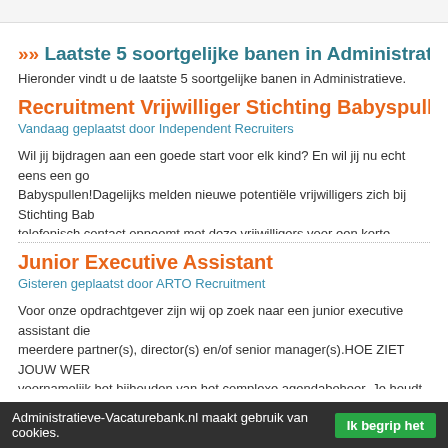»» Laatste 5 soortgelijke banen in Administratieve
Hieronder vindt u de laatste 5 soortgelijke banen in Administratieve.
Recruitment Vrijwilliger Stichting Babyspullen (oo
Vandaag geplaatst door Independent Recruiters
Wil jij bijdragen aan een goede start voor elk kind? En wil jij nu echt eens een go Babyspullen!Dagelijks melden nieuwe potentiële vrijwilligers zich bij Stichting Ba telefonisch contact opneemt met deze vrijwilligers voor een korte telefonische sc en kwaliteiten van de potentiële nieuwe vrijwilliger. Je...
Junior Executive Assistant
Gisteren geplaatst door ARTO Recruitment
Voor onze opdrachtgever zijn wij op zoek naar een junior executive assistant die meerdere partner(s), director(s) en/of senior manager(s).HOE ZIET JOUW WER voornamelijk het bijhouden van het complexe agendabeheer. Je houdt de telefoo meer plannen is wat jij leuk vindt om te doen. Jij laat je werk zonder enig...
Administratieve-Vacaturebank.nl maakt gebruik van cookies.  Ik begrip het